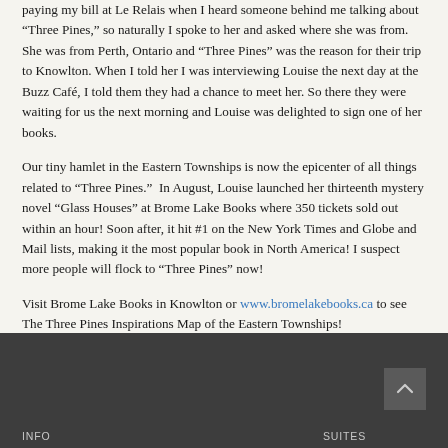paying my bill at Le Relais when I heard someone behind me talking about “Three Pines,” so naturally I spoke to her and asked where she was from. She was from Perth, Ontario and “Three Pines” was the reason for their trip to Knowlton. When I told her I was interviewing Louise the next day at the Buzz Café, I told them they had a chance to meet her. So there they were waiting for us the next morning and Louise was delighted to sign one of her books.
Our tiny hamlet in the Eastern Townships is now the epicenter of all things related to “Three Pines.”  In August, Louise launched her thirteenth mystery novel “Glass Houses” at Brome Lake Books where 350 tickets sold out within an hour! Soon after, it hit #1 on the New York Times and Globe and Mail lists, making it the most popular book in North America! I suspect more people will flock to “Three Pines” now!
Visit Brome Lake Books in Knowlton or www.bromelakebooks.ca to see The Three Pines Inspirations Map of the Eastern Townships!
INFO    SUITES